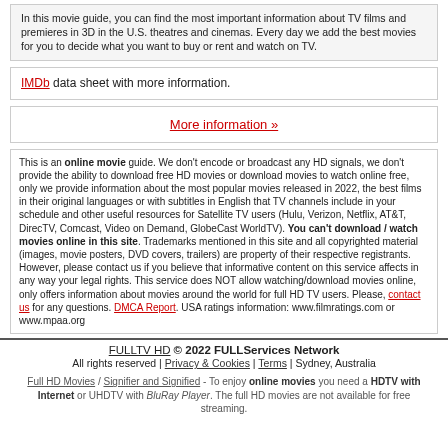In this movie guide, you can find the most important information about TV films and premieres in 3D in the U.S. theatres and cinemas. Every day we add the best movies for you to decide what you want to buy or rent and watch on TV.
IMDb data sheet with more information.
More information »
This is an online movie guide. We don't encode or broadcast any HD signals, we don't provide the ability to download free HD movies or download movies to watch online free, only we provide information about the most popular movies released in 2022, the best films in their original languages or with subtitles in English that TV channels include in your schedule and other useful resources for Satellite TV users (Hulu, Verizon, Netflix, AT&T, DirecTV, Comcast, Video on Demand, GlobeCast WorldTV). You can't download / watch movies online in this site. Trademarks mentioned in this site and all copyrighted material (images, movie posters, DVD covers, trailers) are property of their respective registrants. However, please contact us if you believe that informative content on this service affects in any way your legal rights. This service does NOT allow watching/download movies online, only offers information about movies around the world for full HD TV users. Please, contact us for any questions. DMCA Report. USA ratings information: www.filmratings.com or www.mpaa.org
FULLTV HD © 2022 FULLServices Network All rights reserved | Privacy & Cookies | Terms | Sydney, Australia
Full HD Movies / Signifier and Signified - To enjoy online movies you need a HDTV with Internet or UHDTV with BluRay Player. The full HD movies are not available for free streaming.